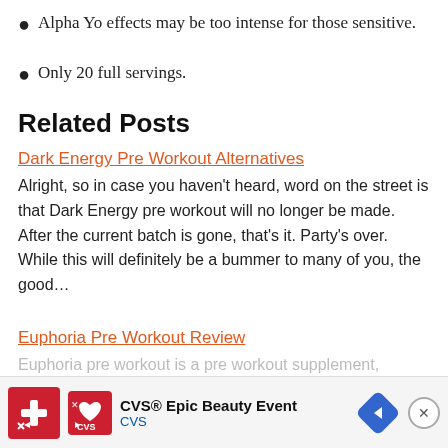Alpha Yo effects may be too intense for those sensitive.
Only 20 full servings.
Related Posts
Dark Energy Pre Workout Alternatives
Alright, so in case you haven't heard, word on the street is that Dark Energy pre workout will no longer be made. After the current batch is gone, that's it. Party's over. While this will definitely be a bummer to many of you, the good…
Euphoria Pre Workout Review
Euphoria pre workout is a pre workout supplement, man… abilit…
[Figure (infographic): Advertisement banner for CVS Epic Beauty Event with CVS logo, navigation arrow icon, and close button.]